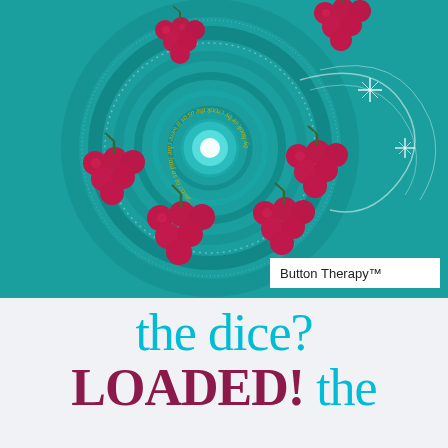[Figure (illustration): Digital art illustration with teal/turquoise spiral background featuring concentric rings and swirling patterns. Multiple clusters of dark pink/magenta grapes are arranged in a circular spiral pattern. Gold cursive text spirals inward reading 'by hook or by crook the as as it were clue laid as to come'. White glowing star/sparkle effects appear on the right side. A white box in the lower right corner reads 'Button Therapy™'.]
the dice? LOADED! the
dice? Grap...